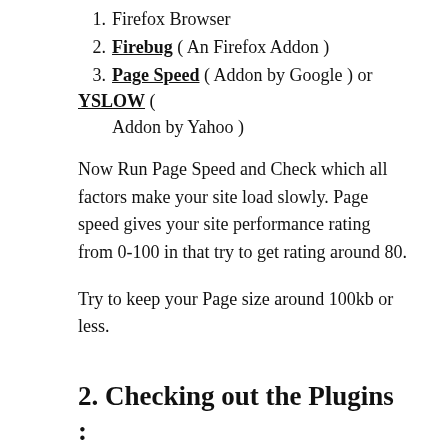1. Firefox Browser
2. Firebug ( An Firefox Addon )
3. Page Speed ( Addon by Google ) or YSLOW ( Addon by Yahoo )
Now Run Page Speed and Check which all factors make your site load slowly. Page speed gives your site performance rating from 0-100 in that try to get rating around 80.
Try to keep your Page size around 100kb or less.
2. Checking out the Plugins :
Plugins are the functionality which make your wordpress blog go zoom, but their are some plugins that make your blog Load too much slowly as they are not properly Optimized for the performance , So